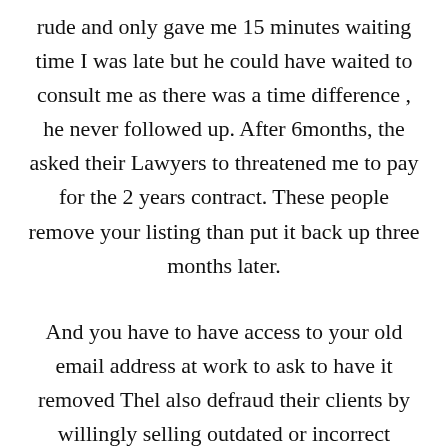rude and only gave me 15 minutes waiting time I was late but he could have waited to consult me as there was a time difference , he never followed up. After 6months, the asked their Lawyers to threatened me to pay for the 2 years contract. These people remove your listing than put it back up three months later.
And you have to have access to your old email address at work to ask to have it removed Thel also defraud their clients by willingly selling outdated or incorrect